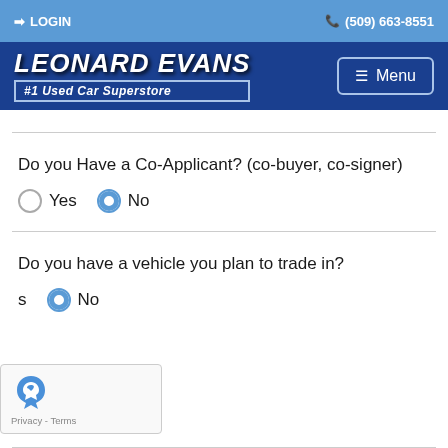LOGIN   (509) 663-8551
[Figure (logo): Leonard Evans #1 Used Car Superstore logo with Menu button]
Do you Have a Co-Applicant? (co-buyer, co-signer)
Yes  No (No selected)
Do you have a vehicle you plan to trade in?
s  No (No selected)
[Figure (other): reCAPTCHA widget with Privacy - Terms text]